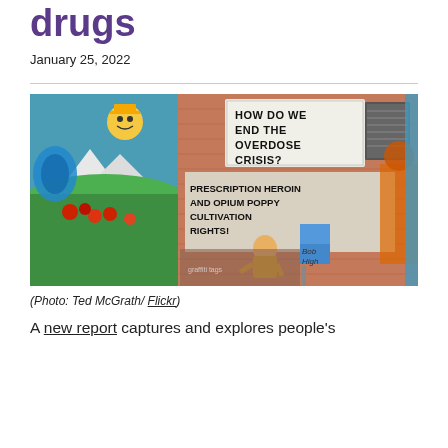drugs
January 25, 2022
[Figure (photo): Colorful street mural on a brick building depicting graffiti art with text reading 'HOW DO WE END THE OVERDOSE CRISIS?' and 'PRESCRIPTION HEROIN AND OPIUM POPPY CULTIVATION RIGHTS!' along with various painted characters and scenes.]
(Photo: Ted McGrath/ Flickr)
A new report captures and explores people's